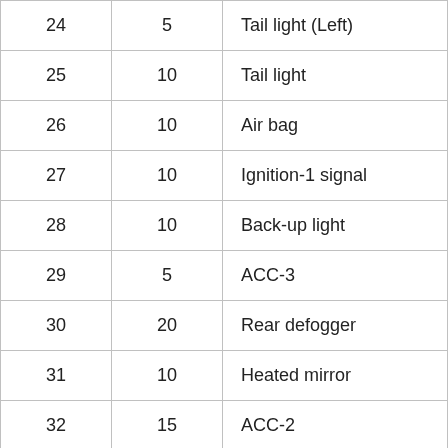| 24 | 5 | Tail light (Left) |
| 25 | 10 | Tail light |
| 26 | 10 | Air bag |
| 27 | 10 | Ignition-1 signal |
| 28 | 10 | Back-up light |
| 29 | 5 | ACC-3 |
| 30 | 20 | Rear defogger |
| 31 | 10 | Heated mirror |
| 32 | 15 | ACC-2 |